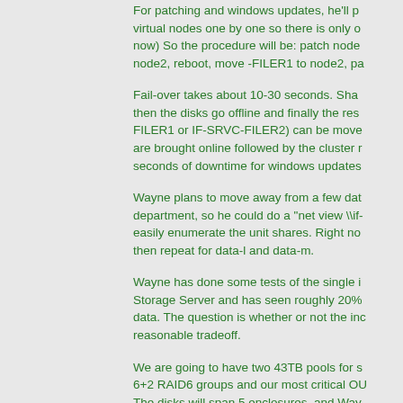For patching and windows updates, he'll patch virtual nodes one by one so there is only one now) So the procedure will be: patch node, node2, reboot, move -FILER1 to node2, pa
Fail-over takes about 10-30 seconds. Sha then the disks go offline and finally the res FILER1 or IF-SRVC-FILER2) can be move are brought online followed by the cluster r seconds of downtime for windows updates
Wayne plans to move away from a few dat department, so he could do a "net view \\if- easily enumerate the unit shares. Right no then repeat for data-l and data-m.
Wayne has done some tests of the single i Storage Server and has seen roughly 20% data. The question is whether or not the in reasonable tradeoff.
We are going to have two 43TB pools for s 6+2 RAID6 groups and our most critical O The disks will span 5 enclosures, and Wa can fail (dual power supply loss, for exam only has 2 disks in each enclosure.